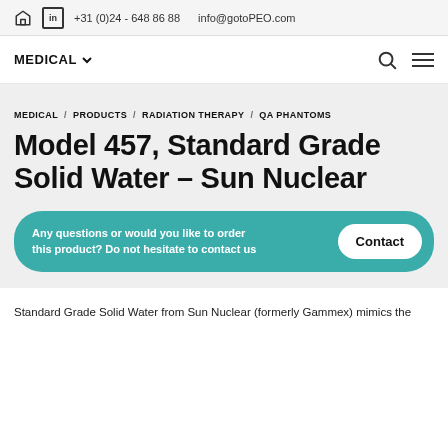+31 (0)24 - 648 86 88  info@gotoPEO.com
MEDICAL
MEDICAL / PRODUCTS / RADIATION THERAPY / QA PHANTOMS
Model 457, Standard Grade Solid Water – Sun Nuclear
Any questions or would you like to order this product? Do not hesitate to contact us
Standard Grade Solid Water from Sun Nuclear (formerly Gammex) mimics the